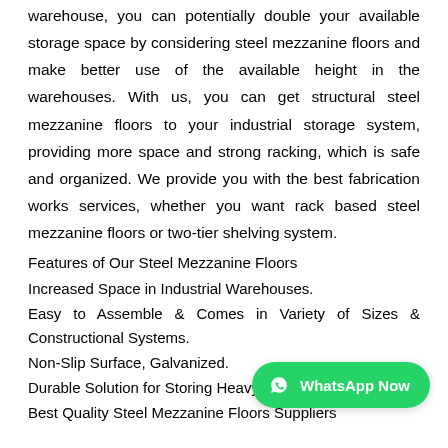warehouse, you can potentially double your available storage space by considering steel mezzanine floors and make better use of the available height in the warehouses. With us, you can get structural steel mezzanine floors to your industrial storage system, providing more space and strong racking, which is safe and organized. We provide you with the best fabrication works services, whether you want rack based steel mezzanine floors or two-tier shelving system.
Features of Our Steel Mezzanine Floors
Increased Space in Industrial Warehouses.
Easy to Assemble & Comes in Variety of Sizes & Constructional Systems.
Non-Slip Surface, Galvanized.
Durable Solution for Storing Heavy
Best Quality Steel Mezzanine Floors Suppliers